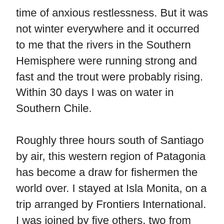time of anxious restlessness. But it was not winter everywhere and it occurred to me that the rivers in the Southern Hemisphere were running strong and fast and the trout were probably rising. Within 30 days I was on water in Southern Chile.

Roughly three hours south of Santiago by air, this western region of Patagonia has become a draw for fishermen the world over. I stayed at Isla Monita, on a trip arranged by Frontiers International. I was joined by five others, two from the states and three from Europe. The trip lasted ten days, however four days were spent in travel. The area was remote, requiring two flights after touching down in Santiago, a two-hour overland ride and a short boat trip to the lodge, where I was welcomed by Anne and Fanz, my hosts. There was no phone, fax or email at the lodge. The food was outstanding and meals were complimented by